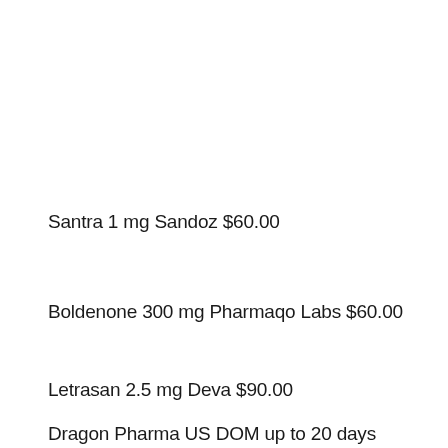Santra 1 mg Sandoz $60.00
Boldenone 300 mg Pharmaqo Labs $60.00
Letrasan 2.5 mg Deva $90.00
Dragon Pharma US DOM up to 20 days